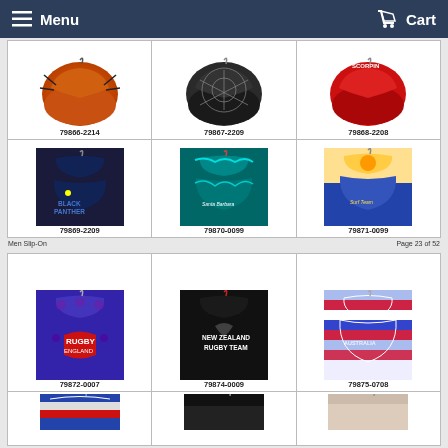Menu   Cart
[Figure (photo): Product grid showing water polo swimsuit slip-ons with product codes 79866-2214, 79867-2209, 79868-2208, 79869-2209, 79870-0099, 79871-0099]
Men Slip-On   Page 23 of 52
[Figure (photo): Product grid showing water polo swimsuit slip-ons with product codes 79872-0007, 79874-0009, 79875-0708 and partial row below]